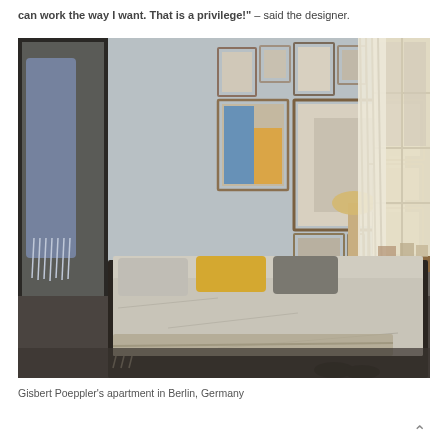can work the way I want. That is a privilege!" – said the designer.
[Figure (photo): Interior photograph of a bedroom in Gisbert Poeppler's apartment in Berlin, Germany. The room features a large dark-framed four-poster bed with grey, gold and dark pillows, gallery wall of framed artwork on light blue-grey walls, floor-length cream curtains by a large window letting in bright daylight, a wooden desk and chair to the right, and a dark carpet floor. A scarf hangs on the left wardrobe.]
Gisbert Poeppler's apartment in Berlin, Germany